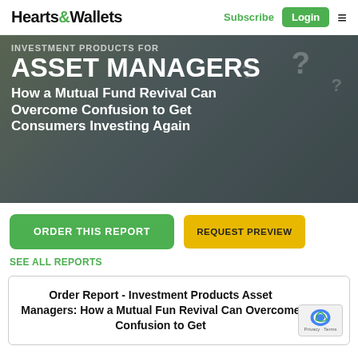Hearts&Wallets | Subscribe | Login
[Figure (photo): Hero banner image showing three people (two women and a man) with question marks in the background, overlaid with white text about investment products for asset managers]
ASSET MANAGERS
How a Mutual Fund Revival Can Overcome Confusion to Get Consumers Investing Again
ORDER THIS REPORT
REQUEST PREVIEW
SEE ALL REPORTS
Order Report - Investment Products Asset Managers: How a Mutual Fund Revival Can Overcome Confusion to Get